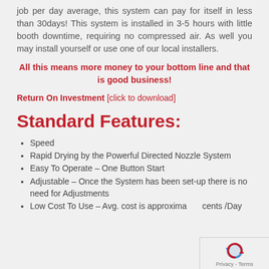job per day average, this system can pay for itself in less than 30days! This system is installed in 3-5 hours with little booth downtime, requiring no compressed air. As well you may install yourself or use one of our local installers.
All this means more money to your bottom line and that is good business!
Return On Investment [click to download]
Standard Features:
Speed
Rapid Drying by the Powerful Directed Nozzle System
Easy To Operate – One Button Start
Adjustable – Once the System has been set-up there is no need for Adjustments
Low Cost To Use – Avg. cost is approximately cents /Day